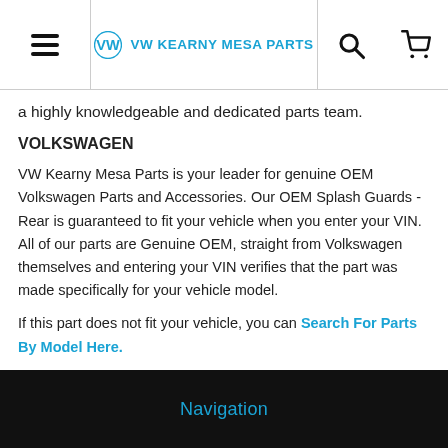VW KEARNY MESA PARTS
a highly knowledgeable and dedicated parts team.
VOLKSWAGEN
VW Kearny Mesa Parts is your leader for genuine OEM Volkswagen Parts and Accessories. Our OEM Splash Guards - Rear is guaranteed to fit your vehicle when you enter your VIN. All of our parts are Genuine OEM, straight from Volkswagen themselves and entering your VIN verifies that the part was made specifically for your vehicle model.
If this part does not fit your vehicle, you can Search For Parts By Model Here.
Navigation